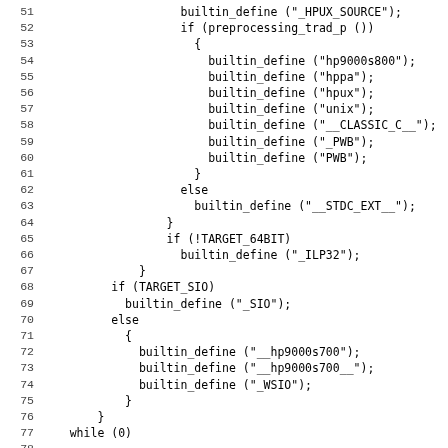[Figure (screenshot): Source code listing showing lines 51-82 of a C preprocessor configuration file, featuring builtin_define calls for HP-UX platform macros, conditional compilation blocks for TARGET_64BIT and TARGET_SIO, and CPP_SPEC definitions.]